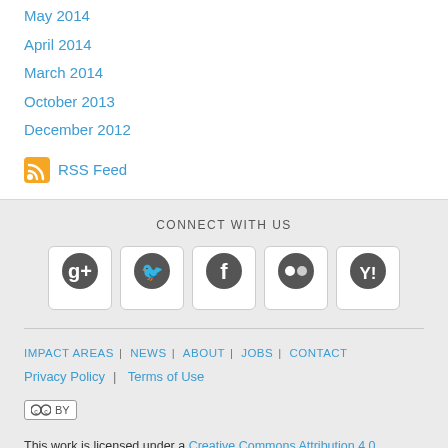May 2014
April 2014
March 2014
October 2013
December 2012
RSS Feed
CONNECT WITH US
[Figure (infographic): Social media icons: Google+, Twitter, Facebook, Flickr, Yahoo]
IMPACT AREAS | NEWS | ABOUT | JOBS | CONTACT
Privacy Policy | Terms of Use
[Figure (logo): Creative Commons BY license badge]
This work is licensed under a Creative Commons Attribution 4.0 International License.